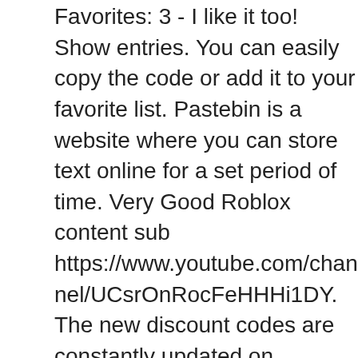Favorites: 3 - I like it too! Show entries. You can easily copy the code or add it to your favorite list. Pastebin is a website where you can store text online for a set period of time. Very Good Roblox content sub https://www.youtube.com/channel/UCsrOnRocFeHHHi1DY. The new discount codes are constantly updated on Couponxoo. Therefore, when using the coupon code, try to select the best code with the highest discount. We have more than 2 MILION newest Roblox song codes for you Toggle ... Roblox music codes 2021; Music Codes; Promo Codes; My Favorite; Naruto song Roblox ID. As Couponxoo's tracking, online shoppers can recently get a save of ! Song Code; Louis Vuitton - Original. Code: 883565879 : Copy: Favorite: 48 : Add To Favorite: Share. The cold is fading away and summer is coming to us. To make certain, you just need to copy the code and apply it to any products that are on sale. Other songs you may like. You can get the Help Me Get My Dream Item Frozen Horns Plz